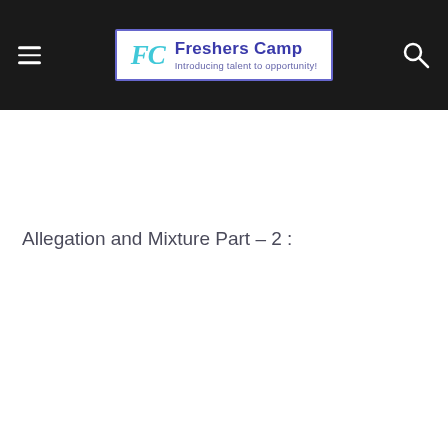Freshers Camp – Introducing talent to opportunity!
Allegation and Mixture Part – 2 :